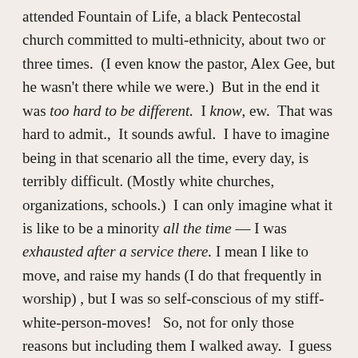attended Fountain of Life, a black Pentecostal church committed to multi-ethnicity, about two or three times.  (I even know the pastor, Alex Gee, but he wasn't there while we were.)  But in the end it was too hard to be different.  I know, ew.  That was hard to admit.,  It sounds awful.  I have to imagine being in that scenario all the time, every day, is terribly difficult. (Mostly white churches, organizations, schools.)  I can only imagine what it is like to be a minority all the time — I was exhausted after a service there. I mean I like to move, and raise my hands (I do that frequently in worship) , but I was so self-conscious of my stiff-white-person-moves!   So, not for only those reasons but including them I walked away.  I guess because I could.